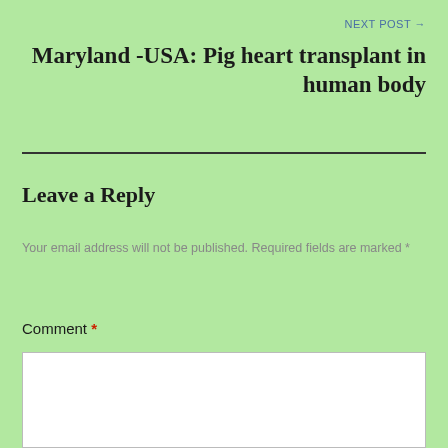NEXT POST →
Maryland -USA: Pig heart transplant in human body
Leave a Reply
Your email address will not be published. Required fields are marked *
Comment *